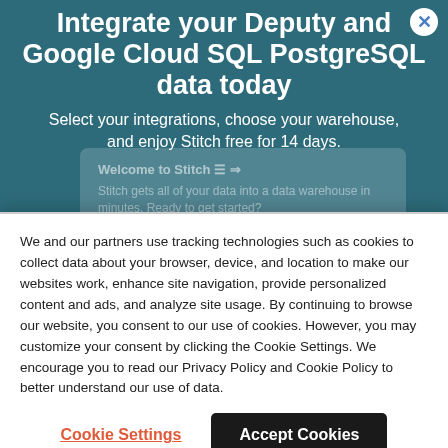Integrate your Deputy and Google Cloud SQL PostgreSQL data today
Select your integrations, choose your warehouse, and enjoy Stitch free for 14 days.
Welcome to Stitch — Stitch gets all of your data into a data warehouse in minutes. Ready to get started?
We and our partners use tracking technologies such as cookies to collect data about your browser, device, and location to make our websites work, enhance site navigation, provide personalized content and ads, and analyze site usage. By continuing to browse our website, you consent to our use of cookies. However, you may customize your consent by clicking the Cookie Settings. We encourage you to read our Privacy Policy and Cookie Policy to better understand our use of data.
Cookie Settings
Accept Cookies